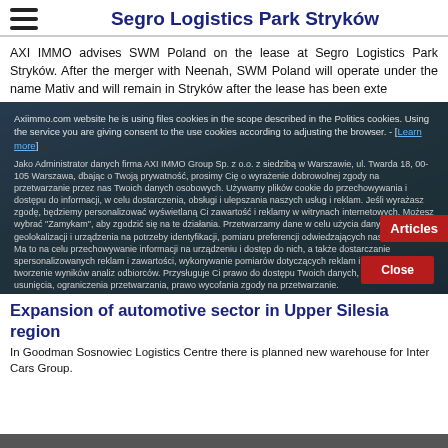Segro Logistics Park Stryków
AXI IMMO advises SWM Poland on the lease at Segro Logistics Park Stryków. After the merger with Neenah, SWM Poland will operate under the name Mativ and will remain in Stryków after the lease has been exte
[Figure (screenshot): Cookie consent overlay on top of an aerial landscape photo showing green fields and sky. Contains cookie policy text in Polish and English, with a 'Learn more' link, an 'Articles' badge in red, and a 'Close' button in red.]
Expansion of automotive sector in Upper Silesia region
In Goodman Sosnowiec Logistics Centre there is planned new warehouse for Inter Cars Group.